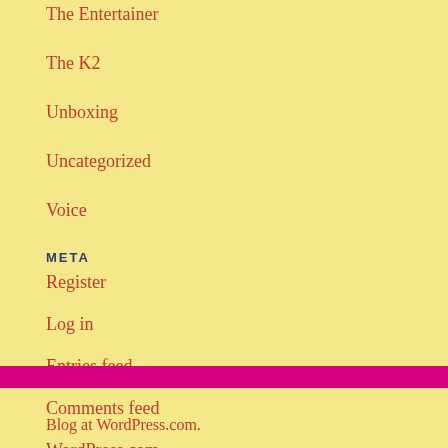The Entertainer
The K2
Unboxing
Uncategorized
Voice
META
Register
Log in
Entries feed
Comments feed
WordPress.com
Blog at WordPress.com.